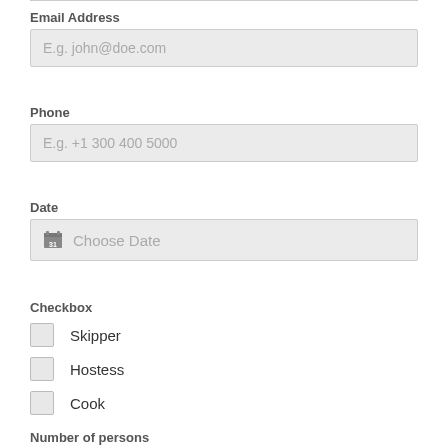Email Address
E.g. john@doe.com
Phone
E.g. +1 300 400 5000
Date
Choose Date
Checkbox
Skipper
Hostess
Cook
Number of persons